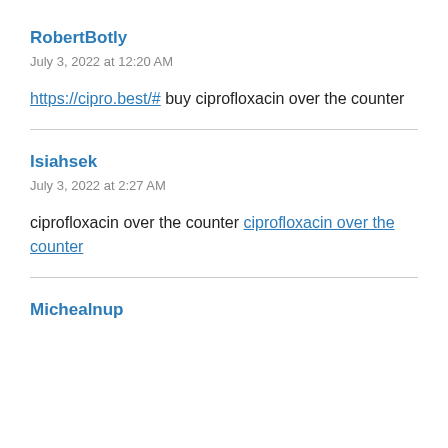RobertBotly
July 3, 2022 at 12:20 AM
https://cipro.best/# buy ciprofloxacin over the counter
Isiahsek
July 3, 2022 at 2:27 AM
ciprofloxacin over the counter ciprofloxacin over the counter
Michealnup